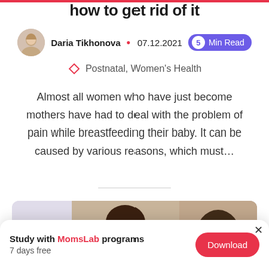how to get rid of it
Daria Tikhonova • 07.12.2021 5 Min Read
Postnatal, Women's Health
Almost all women who have just become mothers have had to deal with the problem of pain while breastfeeding their baby. It can be caused by various reasons, which must...
[Figure (photo): Two women with long dark hair, one facing forward smiling and one shown from behind, in a split composition on a light background]
0  18  5
Study with MomsLab programs 7 days free